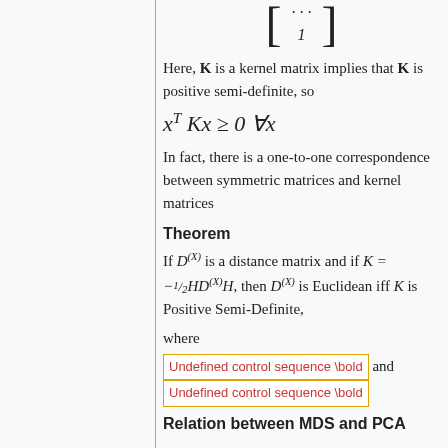[Figure (math-figure): Matrix bracket containing ellipsis dots and 1]
Here, K is a kernel matrix implies that K is positive semi-definite, so
In fact, there is a one-to-one correspondence between symmetric matrices and kernel matrices
Theorem
If D^(X) is a distance matrix and if K = -1/2 H D^(X) H, then D^(X) is Euclidean iff K is Positive Semi-Definite,
where
Undefined control sequence \bold  and
Undefined control sequence \bold
Relation between MDS and PCA